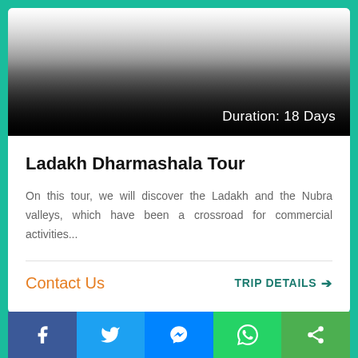[Figure (photo): Tour image with dark gradient overlay showing duration label]
Duration: 18 Days
Ladakh Dharmashala Tour
On this tour, we will discover the Ladakh and the Nubra valleys, which have been a crossroad for commercial activities...
Contact Us
TRIP DETAILS →
[Figure (infographic): Social media sharing bar with Facebook, Twitter, Messenger, WhatsApp, and Share buttons]